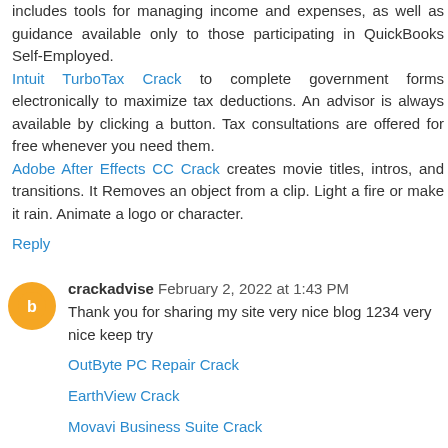includes tools for managing income and expenses, as well as guidance available only to those participating in QuickBooks Self-Employed. Intuit TurboTax Crack to complete government forms electronically to maximize tax deductions. An advisor is always available by clicking a button. Tax consultations are offered for free whenever you need them. Adobe After Effects CC Crack creates movie titles, intros, and transitions. It Removes an object from a clip. Light a fire or make it rain. Animate a logo or character.
Reply
crackadvise February 2, 2022 at 1:43 PM
Thank you for sharing my site very nice blog 1234 very nice keep try
OutByte PC Repair Crack
EarthView Crack
Movavi Business Suite Crack